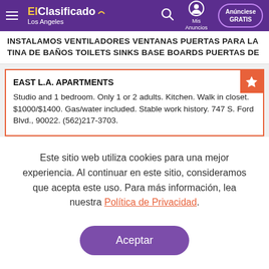ElClasificado Los Angeles — Mis Anuncios — Anúnciese GRATIS
INSTALAMOS VENTILADORES VENTANAS PUERTAS PARA LA TINA DE BAÑOS TOILETS SINKS BASE BOARDS PUERTAS DE
EAST L.A. APARTMENTS
Studio and 1 bedroom. Only 1 or 2 adults. Kitchen. Walk in closet. $1000/$1400. Gas/water included. Stable work history. 747 S. Ford Blvd., 90022. (562)217-3703.
Este sitio web utiliza cookies para una mejor experiencia. Al continuar en este sitio, consideramos que acepta este uso. Para más información, lea nuestra Política de Privacidad.
Aceptar